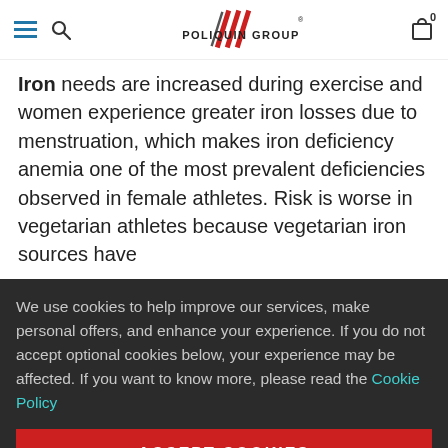[Figure (logo): Poliquin Group logo with red diagonal slashes and text POLIQUIN GROUP]
Iron needs are increased during exercise and women experience greater iron losses due to menstruation, which makes iron deficiency anemia one of the most prevalent deficiencies observed in female athletes. Risk is worse in vegetarian athletes because vegetarian iron sources have
We use cookies to help improve our services, make personal offers, and enhance your experience. If you do not accept optional cookies below, your experience may be affected. If you want to know more, please read the Cookie Policy
ACCEPT COOKIES
CUSTOM SETTINGS